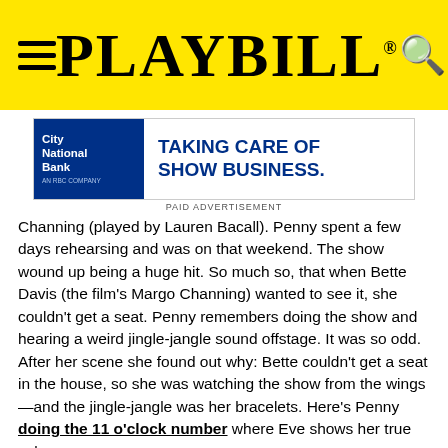PLAYBILL
[Figure (other): City National Bank advertisement: 'TAKING CARE OF SHOW BUSINESS.' with blue and white banner. Labeled PAID ADVERTISEMENT below.]
Channing (played by Lauren Bacall). Penny spent a few days rehearsing and was on that weekend. The show wound up being a huge hit. So much so, that when Bette Davis (the film's Margo Channing) wanted to see it, she couldn't get a seat. Penny remembers doing the show and hearing a weird jingle-jangle sound offstage. It was so odd. After her scene she found out why: Bette couldn't get a seat in the house, so she was watching the show from the wings—and the jingle-jangle was her bracelets. Here's Penny doing the 11 o'clock number where Eve shows her true colors.
Peace out and Happy Labor Day weekend!